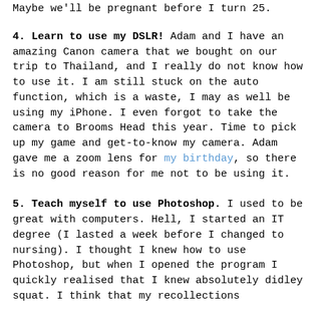Maybe we'll be pregnant before I turn 25.
4. Learn to use my DSLR! Adam and I have an amazing Canon camera that we bought on our trip to Thailand, and I really do not know how to use it. I am still stuck on the auto function, which is a waste, I may as well be using my iPhone. I even forgot to take the camera to Brooms Head this year. Time to pick up my game and get-to-know my camera. Adam gave me a zoom lens for my birthday, so there is no good reason for me not to be using it.
5. Teach myself to use Photoshop. I used to be great with computers. Hell, I started an IT degree (I lasted a week before I changed to nursing). I thought I knew how to use Photoshop, but when I opened the program I quickly realised that I knew absolutely didley squat. I think that my recollections...